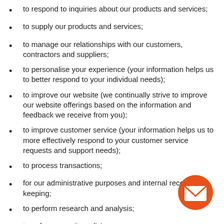to respond to inquiries about our products and services;
to supply our products and services;
to manage our relationships with our customers, contractors and suppliers;
to personalise your experience (your information helps us to better respond to your individual needs);
to improve our website (we continually strive to improve our website offerings based on the information and feedback we receive from you);
to improve customer service (your information helps us to more effectively respond to your customer service requests and support needs);
to process transactions;
for our administrative purposes and internal record keeping;
to perform research and analysis;
to enforce our site policies;
to safeguard public health or public safety;
(for Australia) to send periodic emails (the email...